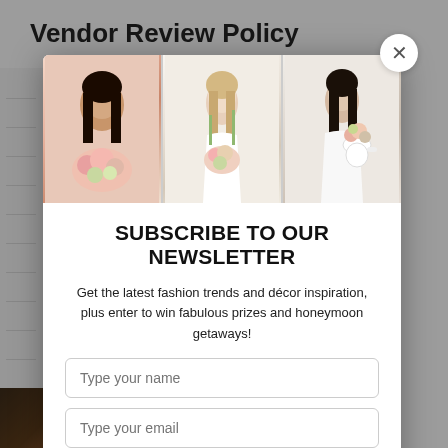Vendor Review Policy
[Figure (photo): A newsletter subscription modal popup with a close (X) button in the top-right corner. The modal contains a banner with three photos of women with flowers/wedding arrangements, a bold headline reading 'SUBSCRIBE TO OUR NEWSLETTER', descriptive text, two input fields, and a pink SUBMIT button.]
SUBSCRIBE TO OUR NEWSLETTER
Get the latest fashion trends and décor inspiration, plus enter to win fabulous prizes and honeymoon getaways!
Type your name
Type your email
SUBMIT